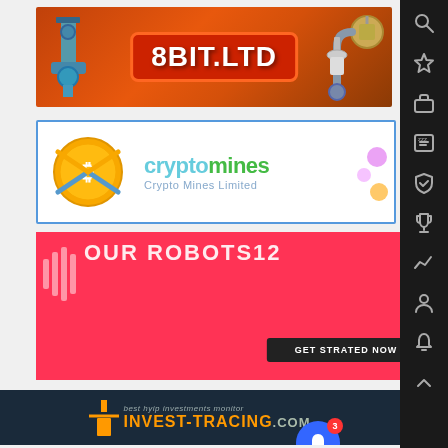[Figure (illustration): 8BIT.LTD banner ad with orange/rust industrial steampunk theme, pipes and machinery, red badge with white text '8BIT.LTD']
[Figure (logo): cryptomines banner ad showing logo with orange circle/Bitcoin symbol and crossed picks, text 'cryptomines' in cyan/green and 'Crypto Mines Limited' subtitle, white background with blue border]
[Figure (illustration): Red/pink banner ad with sound wave icon, stylized text, white 'for c...' text box at right, dark 'GET STARTED NOW' button at bottom]
[Figure (logo): invest-tracing.com banner ad on dark navy background with orange 'IT' logo, tagline 'best hyip investments monitor', orange and grey text 'INVEST-TRACING.COM']
[Figure (illustration): Profvest banner partially visible at bottom: dark left side with logo and PROFVEST text, bright green right side with Cyrillic text 'ТОП 1 БЛОГ О ХАЙ']